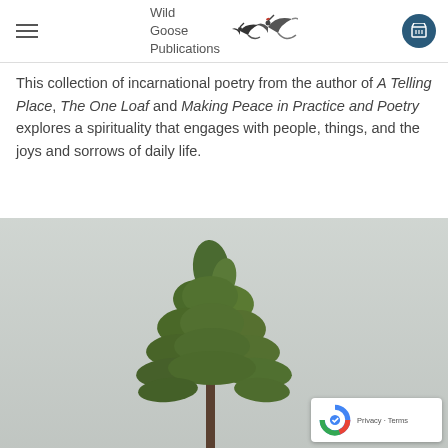Wild Goose Publications
This collection of incarnational poetry from the author of A Telling Place, The One Loaf and Making Peace in Practice and Poetry explores a spirituality that engages with people, things, and the joys and sorrows of daily life.
[Figure (photo): A green pine or conifer tree top photographed against a pale grey snowy or misty background]